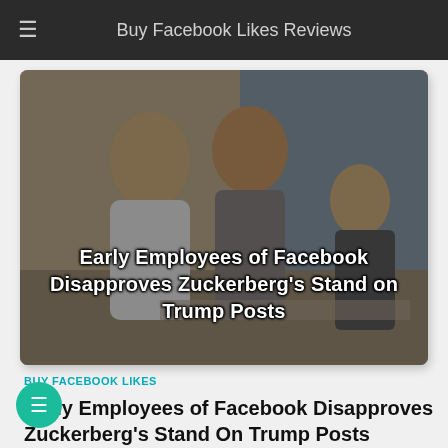Buy Facebook Likes Reviews
[Figure (photo): Office photo of employees collaborating, with text overlay: Early Employees of Facebook Disapproves Zuckerberg's Stand on Trump Posts]
BUY FACEBOOK LIKES
Early Employees of Facebook Disapproves Zuckerberg's Stand On Trump Posts
Nearly three dozen of employees wrote an open letter calling on Facebook's CEO to remove President Trump's...